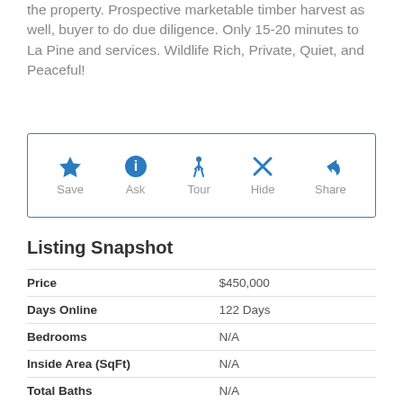the property. Prospective marketable timber harvest as well, buyer to do due diligence. Only 15-20 minutes to La Pine and services. Wildlife Rich, Private, Quiet, and Peaceful!
[Figure (infographic): Action bar with five icons: Save (star), Ask (info circle), Tour (walking person), Hide (X), Share (arrow). Blue icons with gray labels inside a blue-bordered rectangle.]
Listing Snapshot
| Price | $450,000 |
| Days Online | 122 Days |
| Bedrooms | N/A |
| Inside Area (SqFt) | N/A |
| Total Baths | N/A |